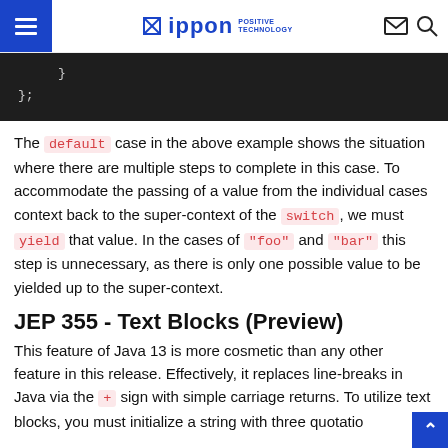Ippon Positive Technology — navigation header
[Figure (screenshot): Dark code block showing closing braces of JavaScript code: '    }' and '};']
The default case in the above example shows the situation where there are multiple steps to complete in this case. To accommodate the passing of a value from the individual cases context back to the super-context of the switch, we must yield that value. In the cases of "foo" and "bar" this step is unnecessary, as there is only one possible value to be yielded up to the super-context.
JEP 355 - Text Blocks (Preview)
This feature of Java 13 is more cosmetic than any other feature in this release. Effectively, it replaces line-breaks in Java via the + sign with simple carriage returns. To utilize text blocks, you must initialize a string with three quotatio